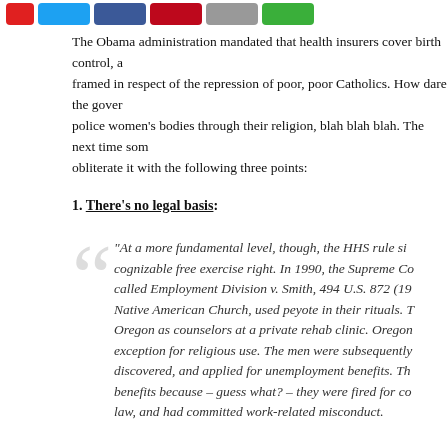[Figure (other): Social sharing buttons bar: red button, Twitter (blue), Facebook (dark blue), Pinterest (red), Email (grey), Green share button]
The Obama administration mandated that health insurers cover birth control, and the debate was framed in respect of the repression of poor, poor Catholics. How dare the government try to police women's bodies through their religion, blah blah blah. The next time someone says this, obliterate it with the following three points:
1. There's no legal basis:
“At a more fundamental level, though, the HHS rule simply ignores a cognizable free exercise right. In 1990, the Supreme Court decided a case called Employment Division v. Smith, 494 U.S. 872 (1990). Two members of the Native American Church, used peyote in their rituals. They were employed in Oregon as counselors at a private rehab clinic. Oregon’s drug laws had no exception for religious use. The men were subsequently fired when this was discovered, and applied for unemployment benefits. The state denied them benefits because – guess what? – they were fired for conduct that violated the law, and had committed work-related misconduct.
The case found its way to the Supreme Court, where the law was upheld. The standard for determining if a regulation burdened a particular religious adherent or organization was whether the law was neutral and generally applicable, lacking any pretext designed to outlaw a particular religious practice. The court even stated that to permit an exception to the First Amendment “would be to make the professed doctrines